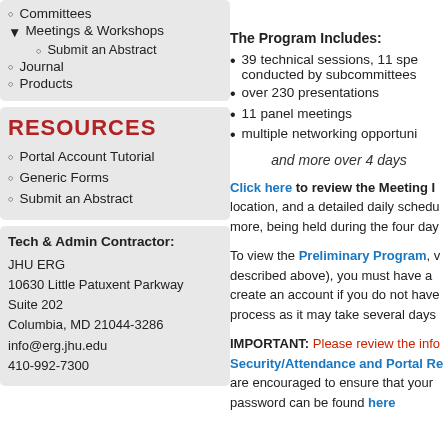Meetings & Workshops (expanded)
Submit an Abstract
Journal
Products
RESOURCES
Portal Account Tutorial
Generic Forms
Submit an Abstract
Tech & Admin Contractor:

JHU ERG
10630 Little Patuxent Parkway
Suite 202
Columbia, MD 21044-3286
info@erg.jhu.edu
410-992-7300
The Program Includes:
39 technical sessions, 11 spe... conducted by subcommittees
over 230 presentations
11 panel meetings
multiple networking opportuni...
and more over 4 days
Click here to review the Meeting I... location, and a detailed daily schedu... more, being held during the four day...
To view the Preliminary Program, v... described above), you must have a ... create an account if you do not have... process as it may take several days
IMPORTANT: Please review the info... Security/Attendance and Portal Re... are encouraged to ensure that your ... password can be found here